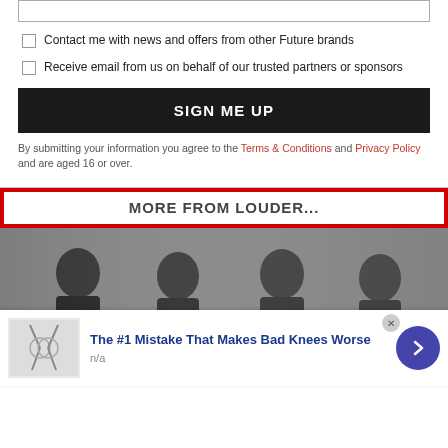Contact me with news and offers from other Future brands
Receive email from us on behalf of our trusted partners or sponsors
SIGN ME UP
By submitting your information you agree to the Terms & Conditions and Privacy Policy and are aged 16 or over.
MORE FROM LOUDER...
[Figure (photo): Black and white photo of four young men (a band), standing together]
The #1 Mistake That Makes Bad Knees Worse
n/a